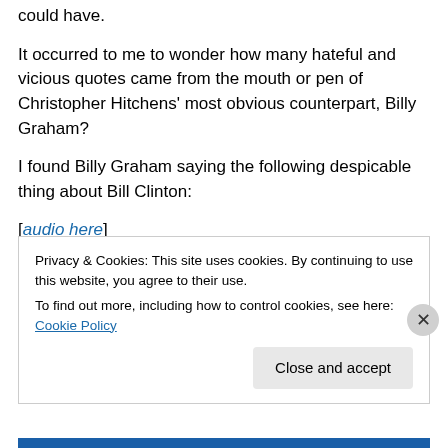could have.
It occurred to me to wonder how many hateful and vicious quotes came from the mouth or pen of Christopher Hitchens' most obvious counterpart, Billy Graham?
I found Billy Graham saying the following despicable thing about Bill Clinton:
[audio here]
Oops, I'm sorry.  Billy didn't actually say anything hateful
Privacy & Cookies: This site uses cookies. By continuing to use this website, you agree to their use.
To find out more, including how to control cookies, see here: Cookie Policy
Close and accept